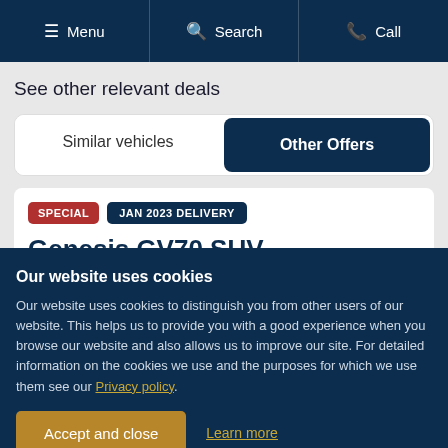Menu  Search  Call
See other relevant deals
Similar vehicles | Other Offers
SPECIAL  JAN 2023 DELIVERY
Genesis GV70 SUV
Our website uses cookies
Our website uses cookies to distinguish you from other users of our website. This helps us to provide you with a good experience when you browse our website and also allows us to improve our site. For detailed information on the cookies we use and the purposes for which we use them see our Privacy policy.
Accept and close  Learn more